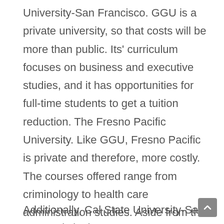University-San Francisco. GGU is a private university, so that costs will be more than public. Its' curriculum focuses on business and executive studies, and it has opportunities for full-time students to get a tuition reduction. The Fresno Pacific University. Like GGU, Fresno Pacific is private and therefore, more costly. The courses offered range from criminology to health care administration studies. Aside from the Universities listed above, several more are considered among the best online colleges. These insert California State University Dominguez Hills. This online hypothetical allows students to accept open enrollment classes, meaning they need not apply to the college. This moot provides extra services for the minority population.
Additionally, Cal State University-San Marcos is in the